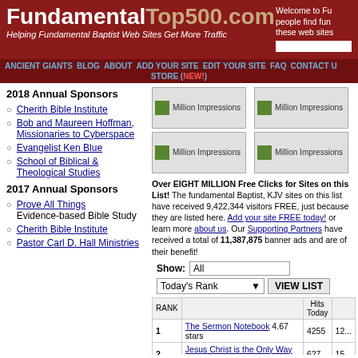FundamentalTop500.com — Helping Fundamental Baptist Web Sites Get More Traffic
Welcome to Fu... people find fun... these web sites...
ANCIENT GIANTS | BLOG | ABOUT | ADD YOUR SITE | EDIT YOUR SITE | FAQ | CONTACT U... | STORE (NEW!)
2018 Annual Sponsors
Cherith Bible Institute
Bob and Maureen Hoffman, Missionaries to Cyberspace
Evangelist Ken Blue
School of Biblical & Theological Studies
2017 Annual Sponsors
Prove All Things Evidence-based Bible Study
Cherith Bible Institute
Pastor Carl D. Hall Ministries
[Figure (other): Four sponsor banner ad image placeholders showing 'Million Impressions' with small green leaf icons, arranged in 2x2 grid]
Over EIGHT MILLION Free Clicks for Sites on this List! The fundamental Baptist, KJV sites on this list have received 9,422,344 visitors FREE, just because they are listed here. Add your site FREE today! or learn more about us. Our Supporting Partners have received a total of 11,387,875 banner ads and are of their benefit!
Show: All
Today's Rank ▼  VIEW LIST
| RANK |  | Hits Today |  |
| --- | --- | --- | --- |
| 1 | The Sermon Notebook 4.67 stars | 4255 | 12... |
| 2 | Jesus Christ is the Only Way to Heaven! | 627 | 15... |
| 3 | The | 459 | 17... |